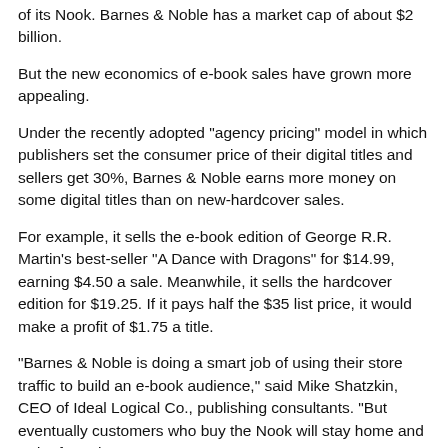of its Nook. Barnes & Noble has a market cap of about $2 billion.
But the new economics of e-book sales have grown more appealing.
Under the recently adopted "agency pricing" model in which publishers set the consumer price of their digital titles and sellers get 30%, Barnes & Noble earns more money on some digital titles than on new-hardcover sales.
For example, it sells the e-book edition of George R.R. Martin's best-seller "A Dance with Dragons" for $14.99, earning $4.50 a sale. Meanwhile, it sells the hardcover edition for $19.25. If it pays half the $35 list price, it would make a profit of $1.75 a title.
"Barnes & Noble is doing a smart job of using their store traffic to build an e-book audience," said Mike Shatzkin, CEO of Ideal Logical Co., publishing consultants. "But eventually customers who buy the Nook will stay home and order from there."